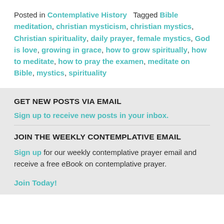Posted in Contemplative History   Tagged Bible meditation, christian mysticism, christian mystics, Christian spirituality, daily prayer, female mystics, God is love, growing in grace, how to grow spiritually, how to meditate, how to pray the examen, meditate on Bible, mystics, spirituality
GET NEW POSTS VIA EMAIL
Sign up to receive new posts in your inbox.
JOIN THE WEEKLY CONTEMPLATIVE EMAIL
Sign up for our weekly contemplative prayer email and receive a free eBook on contemplative prayer.
Join Today!